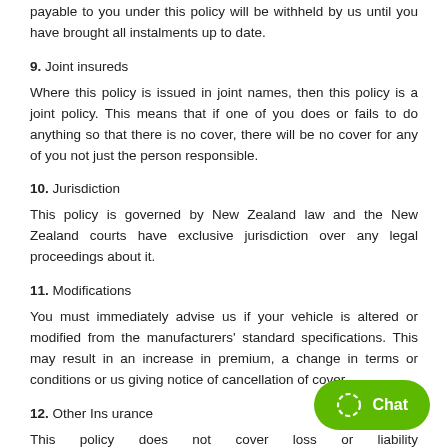payable to you under this policy will be withheld by us until you have brought all instalments up to date.
9. Joint insureds
Where this policy is issued in joint names, then this policy is a joint policy. This means that if one of you does or fails to do anything so that there is no cover, there will be no cover for any of you not just the person responsible.
10. Jurisdiction
This policy is governed by New Zealand law and the New Zealand courts have exclusive jurisdiction over any legal proceedings about it.
11. Modifications
You must immediately advise us if your vehicle is altered or modified from the manufacturers' standard specifications. This may result in an increase in premium, a change in terms or conditions or us giving notice of cancellation of cover.
12. Other Insurance
This policy does not cover loss or liability where provided by other insurance. We will not contribute to under any other policy.